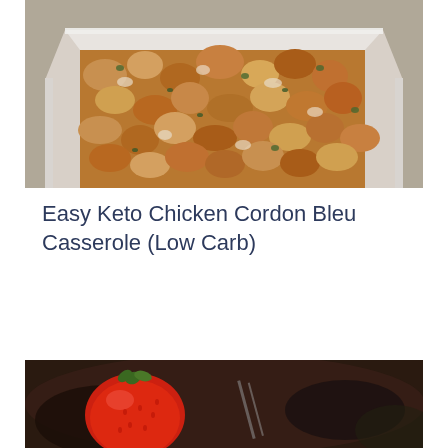[Figure (photo): Close-up photo of a chicken cordon bleu casserole in a white baking dish, showing a golden-brown breadcrumb topping with green herb flecks.]
Easy Keto Chicken Cordon Bleu Casserole (Low Carb)
[Figure (photo): Close-up photo of a red strawberry with a dark blurred background.]